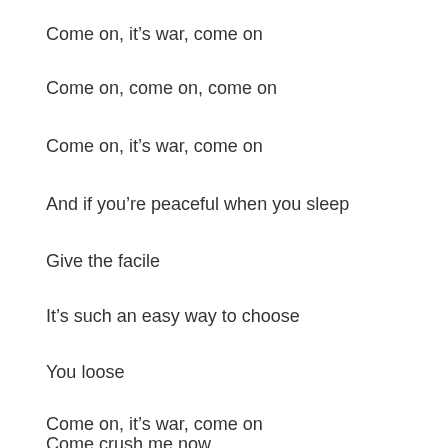Come on, it's war, come on
Come on, come on, come on
Come on, it's war, come on
And if you're peaceful when you sleep
Give the facile
It's such an easy way to choose
You loose
Come on, it's war, come on
Come crush me now